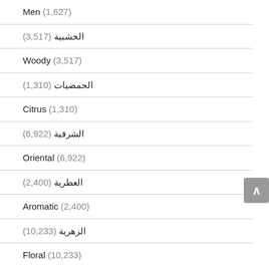Men (1,627)
الخشبية (3,517)
Woody (3,517)
الحمضيات (1,310)
Citrus (1,310)
الشرقية (6,922)
Oriental (6,922)
العطرية (2,400)
Aromatic (2,400)
الزهرية (10,233)
Floral (10,233)